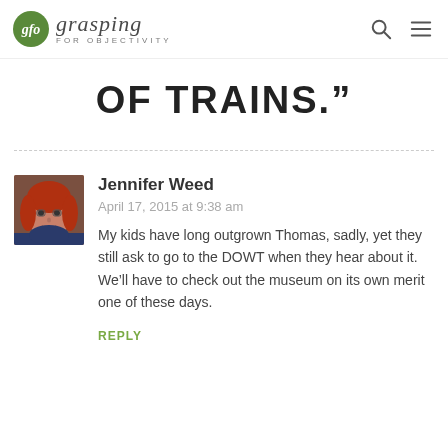[Figure (logo): Grasping for Objectivity blog logo with green circle 'gfo' icon and italic text]
OF TRAINS.”
Jennifer Weed
April 17, 2015 at 9:38 am
My kids have long outgrown Thomas, sadly, yet they still ask to go to the DOWT when they hear about it. We’ll have to check out the museum on its own merit one of these days.
REPLY